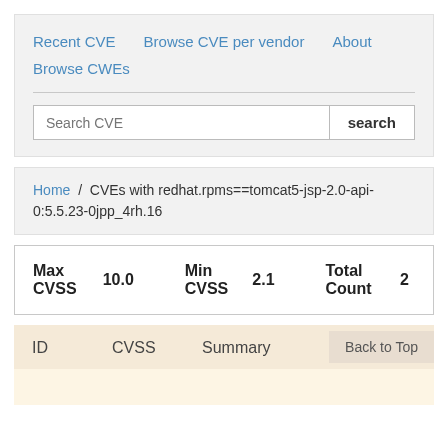Recent CVE
Browse CVE per vendor
About
Browse CWEs
Search CVE search
Home / CVEs with redhat.rpms==tomcat5-jsp-2.0-api-0:5.5.23-0jpp_4rh.16
| Max CVSS | Min CVSS | Total Count |
| --- | --- | --- |
| 10.0 | 2.1 | 2 |
| ID | CVSS | Summary |
| --- | --- | --- |